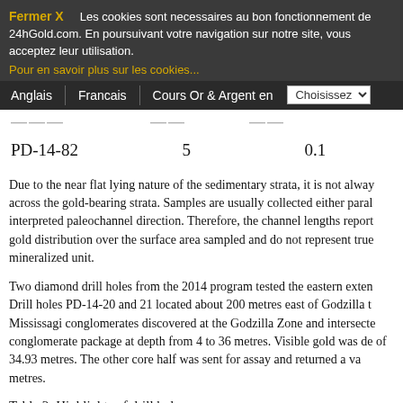Fermer X   Les cookies sont necessaires au bon fonctionnement de 24hGold.com. En poursuivant votre navigation sur notre site, vous acceptez leur utilisation.
Pour en savoir plus sur les cookies...
Anglais  Francais  Cours Or & Argent en  Choisissez
| PD-14-82 | 5 | 0.1 |
Due to the near flat lying nature of the sedimentary strata, it is not always across the gold-bearing strata. Samples are usually collected either parallel to interpreted paleochannel direction. Therefore, the channel lengths reported gold distribution over the surface area sampled and do not represent true mineralized unit.
Two diamond drill holes from the 2014 program tested the eastern extension. Drill holes PD-14-20 and 21 located about 200 metres east of Godzilla to Mississagi conglomerates discovered at the Godzilla Zone and intersected conglomerate package at depth from 4 to 36 metres. Visible gold was detected of 34.93 metres. The other core half was sent for assay and returned a value metres.
Table 2: Highlights of drill hole assays